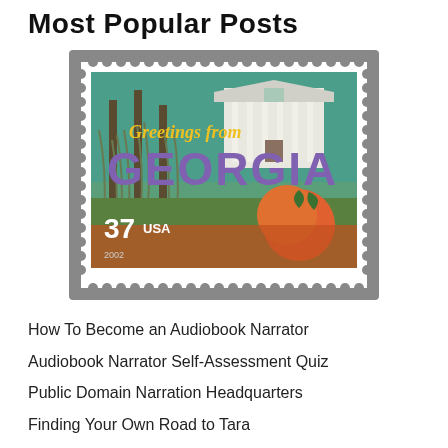Most Popular Posts
[Figure (illustration): A postage stamp reading 'Greetings from GEORGIA', 37 USA, 2002, featuring an illustration of a Southern plantation house with Spanish moss trees and a peach]
How To Become an Audiobook Narrator
Audiobook Narrator Self-Assessment Quiz
Public Domain Narration Headquarters
Finding Your Own Road to Tara
ACX U - Acting With Intention
4 Keys to Becoming a Successful ACX Audiobook